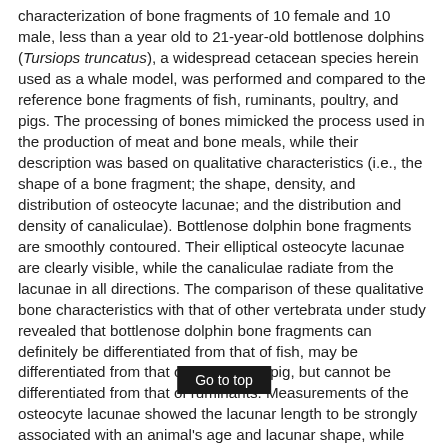characterization of bone fragments of 10 female and 10 male, less than a year old to 21-year-old bottlenose dolphins (Tursiops truncatus), a widespread cetacean species herein used as a whale model, was performed and compared to the reference bone fragments of fish, ruminants, poultry, and pigs. The processing of bones mimicked the process used in the production of meat and bone meals, while their description was based on qualitative characteristics (i.e., the shape of a bone fragment; the shape, density, and distribution of osteocyte lacunae; and the distribution and density of canaliculae). Bottlenose dolphin bone fragments are smoothly contoured. Their elliptical osteocyte lacunae are clearly visible, while the canaliculae radiate from the lacunae in all directions. The comparison of these qualitative bone characteristics with that of other vertebrata under study revealed that bottlenose dolphin bone fragments can definitely be differentiated from that of fish, may be differentiated from that of poultry and pig, but cannot be differentiated from that of ruminants. Measurements of the osteocyte lacunae showed the lacunar length to be strongly associated with an animal's age and lacunar shape, while their width [was] associated with an animal's gender and lacunae [...] results indicate
Go to top